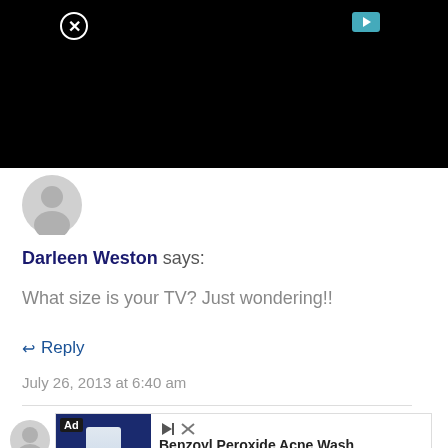[Figure (screenshot): Black video player area with close X button (circle) top left and teal play button top right]
[Figure (illustration): Generic grey user avatar silhouette]
Darleen Weston says:
What size is your TV? Just wondering!!
↩ Reply
July 26, 2013 at 6:40 am
[Figure (screenshot): Ad banner: Benzoyl Peroxide Acne Wash by PanOxyl, Shop Now]
[Figure (illustration): Partial grey user avatar at bottom left]